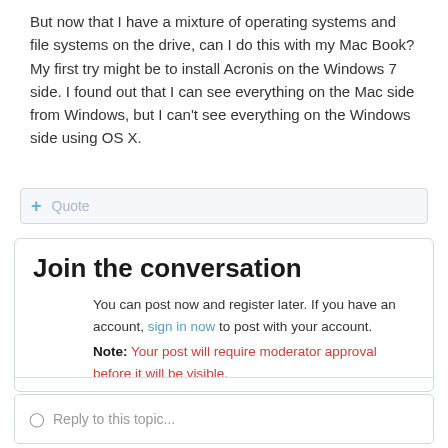But now that I have a mixture of operating systems and file systems on the drive, can I do this with my Mac Book? My first try might be to install Acronis on the Windows 7 side. I found out that I can see everything on the Mac side from Windows, but I can't see everything on the Windows side using OS X.
+ Quote
Join the conversation
You can post now and register later. If you have an account, sign in now to post with your account. Note: Your post will require moderator approval before it will be visible.
Reply to this topic...